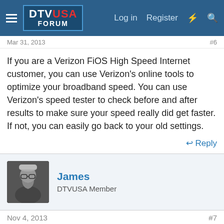DTV USA FORUM | Log in | Register
Mar 31, 2013
If you are a Verizon FiOS High Speed Internet customer, you can use Verizon's online tools to optimize your broadband speed. You can use Verizon's speed tester to check before and after results to make sure your speed really did get faster. If not, you can easily go back to your old settings.
Reply
James
DTVUSA Member
Nov 4, 2013
#7
I have had Fios for a couple of years now. It has only slowed down a couple of times. I used the online assistant thing to let the tech see my system. He would run a speed test, read the results, and make some kind of tweak in the router. More recently Verizon has been offering faster speeds but people are saying you won't be able to tell the difference unless you have